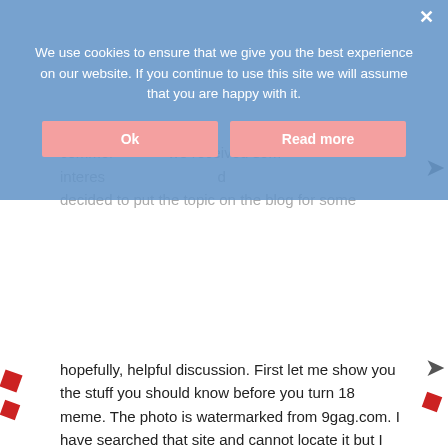We use cookies to ensure that we give you the best experience on our website. If you continue to use this site we will assume that you are happy with it.
Ok | Read more
hopefully, helpful discussion. First let me show you the stuff you should know before you turn 18 meme. The photo is watermarked from 9gag.com. I have searched that site and cannot locate it but I wanted to give them credit.
[Figure (photo): A 2x2 grid of photos: top-left shows hands working with a cable/wire and marshmallow; top-right shows a mechanic working under a car hood; bottom-left shows a young woman sitting next to a car wheel holding a tool; bottom-right shows hands using a pen near a calculator/keyboard. Watermark reads VIA 9GAG.COM.]